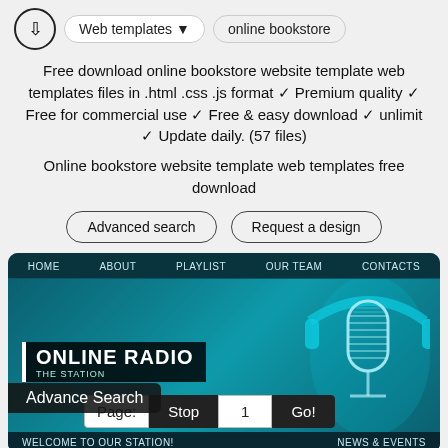Web templates ▼   online bookstore
Free download online bookstore website template web templates files in .html .css .js format ✓ Premium quality ✓ Free for commercial use ✓ Free & easy download ✓ unlimit ✓ Update daily. (57 files)
Online bookstore website template web templates free download
Advanced search   Request a design
[Figure (screenshot): Screenshot of an online radio website template with dark teal background, navigation bar (HOME, ABOUT, PLAYLIST, OUR TEAM, CONTACTS), a microphone image, ONLINE RADIO title, pagination bar with Page: Stop 1 Go!, Advance Search label, and bottom bar with WELCOME TO OUR STATION! and NEWS & EVENTS]